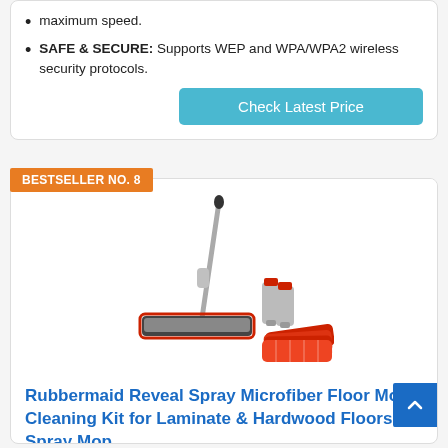maximum speed.
SAFE & SECURE: Supports WEP and WPA/WPA2 wireless security protocols.
Check Latest Price
BESTSELLER NO. 8
[Figure (photo): Rubbermaid Reveal Spray Microfiber Floor Mop with spray bottles and red microfiber cleaning pads]
Rubbermaid Reveal Spray Microfiber Floor Mop Cleaning Kit for Laminate & Hardwood Floors, Spray Mop...